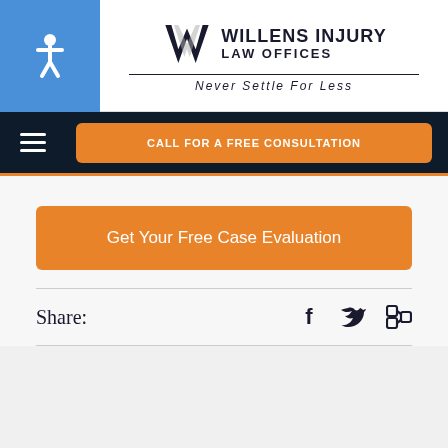[Figure (logo): Willens Injury Law Offices logo with accessibility icon and tagline Never Settle For Less]
CALL FOR A FREE CONSULTATION
Get Your Free Case Evaluation
Share: